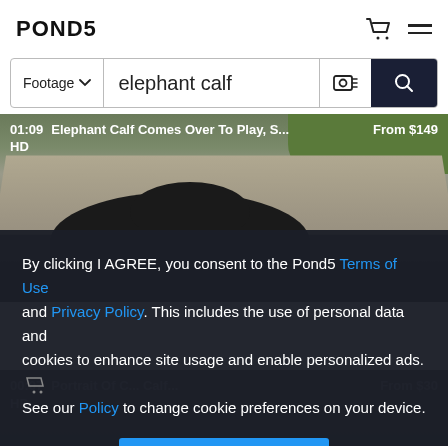POND5
Footage  elephant calf
[Figure (screenshot): Video thumbnail of elephant calf on a road, overlay text: 01:09 Elephant Calf Comes Over To Play, S... From $149 HD]
By clicking I AGREE, you consent to the Pond5 Terms of Use and Privacy Policy. This includes the use of personal data and cookies to enhance site usage and enable personalized ads. See our Policy to change cookie preferences on your device.
I AGREE
[Figure (screenshot): Video thumbnail (dimmed): 00:07 Portrait Of C... Calf... From $30 HD]